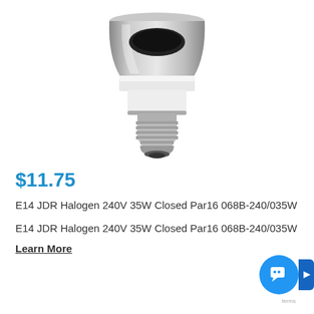[Figure (photo): E14 JDR halogen light bulb with chrome/silver reflector top and metallic E14 screw base, photographed against white background]
$11.75
E14 JDR Halogen 240V 35W Closed Par16 068B-240/035W
E14 JDR Halogen 240V 35W Closed Par16 068B-240/035W
Learn More